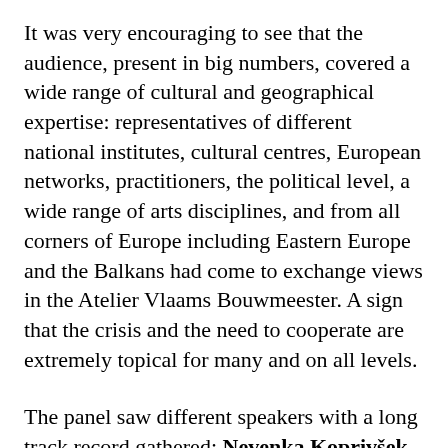It was very encouraging to see that the audience, present in big numbers, covered a wide range of cultural and geographical expertise: representatives of different national institutes, cultural centres, European networks, practitioners, the political level, a wide range of arts disciplines, and from all corners of Europe including Eastern Europe and the Balkans had come to exchange views in the Atelier Vlaams Bouwmeester. A sign that the crisis and the need to cooperate are extremely topical for many and on all levels.
The panel saw different speakers with a long track record gathered: Nevenka Koprivšek from Bunker (Slovenia) and Balkan Express Network, to name a few, for which...